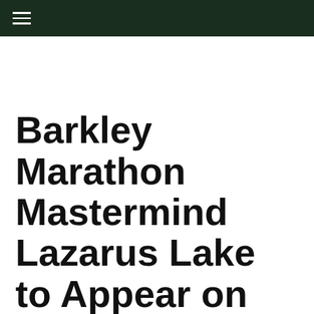≡
Barkley Marathon Mastermind Lazarus Lake to Appear on